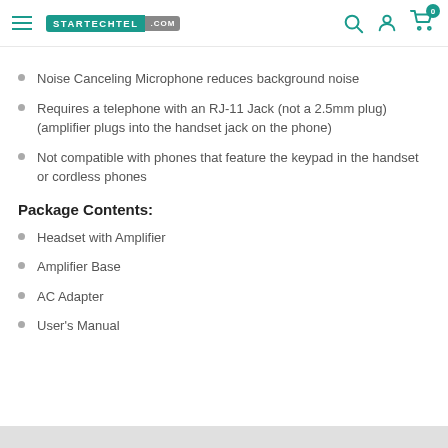STARTECHTEL .COM
Noise Canceling Microphone reduces background noise
Requires a telephone with an RJ-11 Jack (not a 2.5mm plug) (amplifier plugs into the handset jack on the phone)
Not compatible with phones that feature the keypad in the handset or cordless phones
Package Contents:
Headset with Amplifier
Amplifier Base
AC Adapter
User's Manual